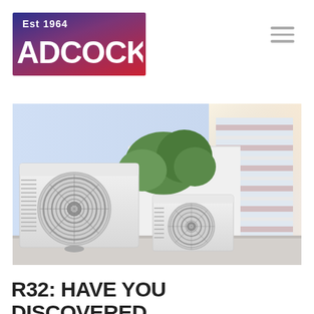[Figure (logo): Adcock logo with 'Est 1964' text on a blue-to-red gradient background, white ADCOCK lettering]
[Figure (other): Hamburger menu icon (three horizontal grey lines)]
[Figure (photo): Two white outdoor air conditioning units mounted on a building rooftop, with green trees and a striped commercial building in the background]
R32: HAVE YOU DISCOVERED